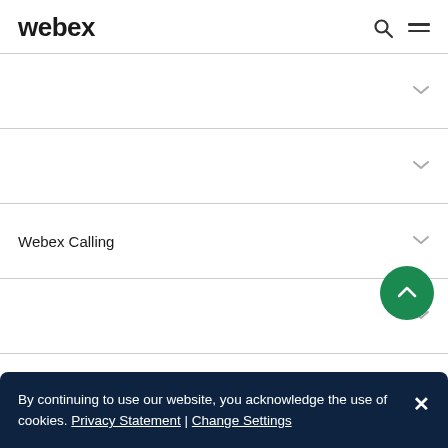webex
Webex Calling
Webex Calling
Control Hub    PSTN (    )
By continuing to use our website, you acknowledge the use of cookies. Privacy Statement | Change Settings